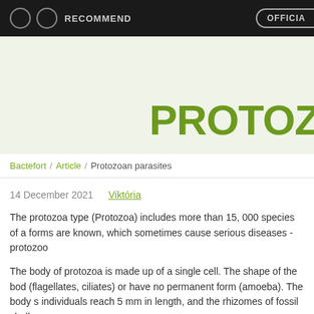RECOMMEND   OFFICIAL
PROTOZOA
Bactefort / Article / Protozoan parasites
14 December 2021   Viktória
The protozoa type (Protozoa) includes more than 15, 000 species of a forms are known, which sometimes cause serious diseases - protozoo
The body of protozoa is made up of a single cell. The shape of the bod (flagellates, ciliates) or have no permanent form (amoeba). The body s individuals reach 5 mm in length, and the rhizomes of fossil shells are